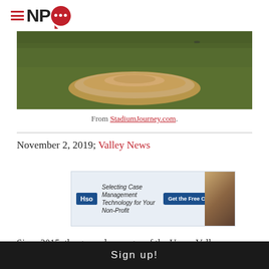[Figure (logo): NPQ (Nonprofit Quarterly) logo: hamburger menu icon in red, bold black letters N and P, and a red speech bubble with three white dots forming Q]
[Figure (photo): Photograph of a baseball field showing a dirt pitcher's mound on green grass]
From StadiumJourney.com.
November 2, 2019; Valley News
[Figure (other): Advertisement banner: HSO - Selecting Case Management Technology for Your Non-Profit. Get the Free Checklist. With image of people.]
Since 2015, the general manager of the Upper Valley
Sign up!